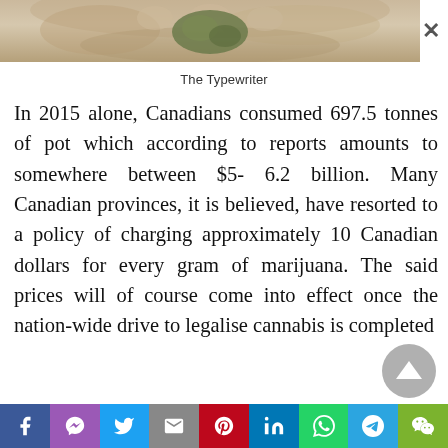[Figure (photo): Close-up photo of hands holding cannabis/marijuana buds, shown as a cropped image bar at the top of the page]
The Typewriter
In 2015 alone, Canadians consumed 697.5 tonnes of pot which according to reports amounts to somewhere between $5- 6.2 billion. Many Canadian provinces, it is believed, have resorted to a policy of charging approximately 10 Canadian dollars for every gram of marijuana. The said prices will of course come into effect once the nation-wide drive to legalise cannabis is completed
[Figure (other): Social media sharing bar with Facebook, Messenger, Twitter, Gmail, Pinterest, LinkedIn, WhatsApp, Telegram, WeChat icons]